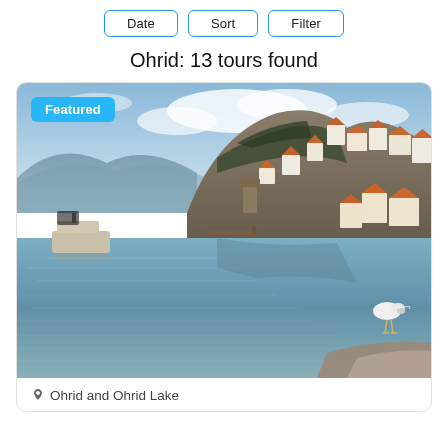Date | Sort | Filter
Ohrid: 13 tours found
[Figure (photo): Scenic photo of Ohrid Lake with hillside town featuring red-roofed white buildings on rocky cliff, a boat on the left, a seagull on the right foreground, calm water reflections, and cloudy sky. Blue 'Featured' badge overlaid on top-left.]
Ohrid and Ohrid Lake